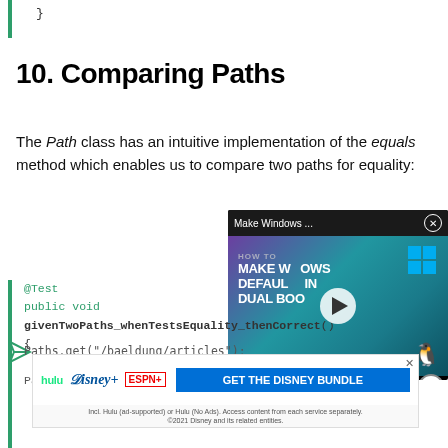}
10. Comparing Paths
The Path class has an intuitive implementation of the equals method which enables us to compare two paths for equality:
[Figure (screenshot): Video overlay showing 'Make Windows ...' tutorial with play button, title 'HOW TO MAKE WINDOWS DEFAULT IN DUAL BOOT' with Windows and Linux logos]
@Test
public void
givenTwoPaths_whenTestsEquality_thenCorrect()
{
Pa...
Paths.get("/baeldung/articles");
[Figure (screenshot): Advertisement banner for Disney Bundle showing hulu, Disney+, ESPN+ logos and 'GET THE DISNEY BUNDLE' call to action]